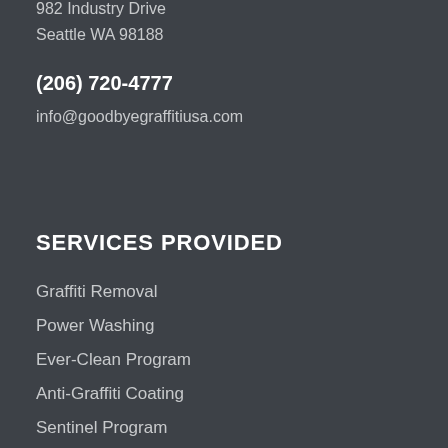982 Industry Drive
Seattle WA 98188
(206) 720-4777
info@goodbyegraffitiusa.com
SERVICES PROVIDED
Graffiti Removal
Power Washing
Ever-Clean Program
Anti-Graffiti Coating
Sentinel Program